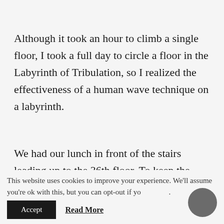Although it took an hour to climb a single floor, I took a full day to circle a floor in the Labyrinth of Tribulation, so I realized the effectiveness of a human wave technique on a labyrinth.
We had our lunch in front of the stairs leading up to the 36th floor. To keep the monsters away, I slightly opened the lid on the barrel of Object X before returning to the
This website uses cookies to improve your experience. We'll assume you're ok with this, but you can opt-out if yo
Accept   Read More